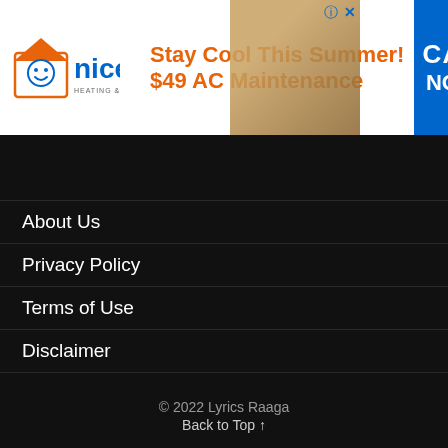[Figure (infographic): Advertisement banner for Nice Heating & Air: 'Stay Cool This Summer! $49 AC Maintenance' with CALL NOW button]
About Us
Privacy Policy
Terms of Use
Disclaimer
Contact Us
Sitemap
© 2022 Lyrics Raaga
Back to Top ↑